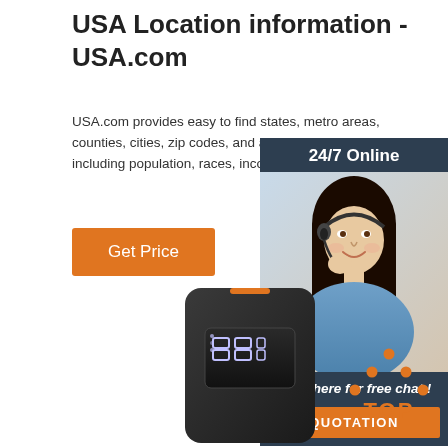USA Location information - USA.com
USA.com provides easy to find states, metro areas, counties, cities, zip codes, and area codes information, including population, races, income, housing, school ...
Get Price
[Figure (photo): Advertisement banner with woman wearing headset, '24/7 Online' header, 'Click here for free chat!' text and orange QUOTATION button on dark blue background]
[Figure (photo): Black electronic device (power bank or charger) with digital LED display showing numbers]
[Figure (logo): TOP logo with orange dots arranged in triangle above orange 'TOP' text]